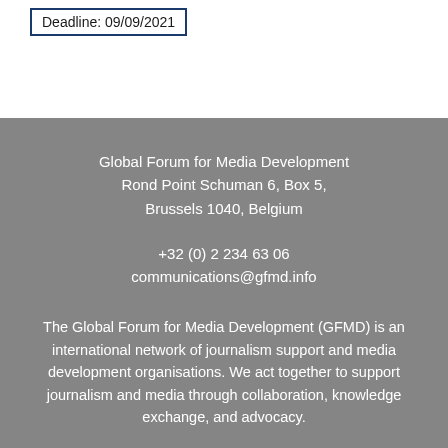Deadline: 09/09/2021
Global Forum for Media Development
Rond Point Schuman 6, Box 5,
Brussels 1040, Belgium
+32 (0) 2 234 63 06
communications@gfmd.info
The Global Forum for Media Development (GFMD) is an international network of journalism support and media development organisations. We act together to support journalism and media through collaboration, knowledge exchange, and advocacy.